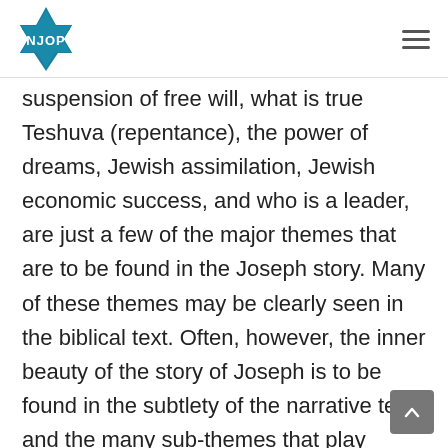NJOP
suspension of free will, what is true Teshuva (repentance), the power of dreams, Jewish assimilation, Jewish economic success, and who is a leader, are just a few of the major themes that are to be found in the Joseph story. Many of these themes may be clearly seen in the biblical text. Often, however, the inner beauty of the story of Joseph is to be found in the subtlety of the narrative text and the many sub-themes that play major roles in the story. One such theme